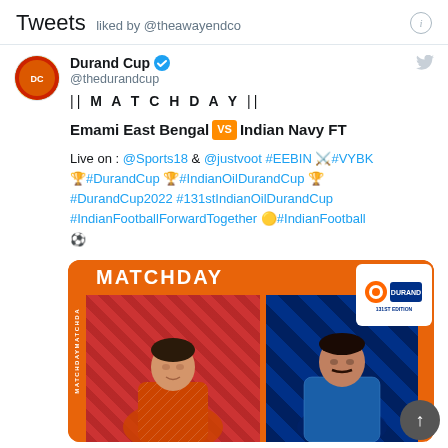Tweets liked by @theawayendco
Durand Cup @thedurandcup
|| M A T C H D A Y ||

Emami East Bengal VS Indian Navy FT

Live on : @Sports18 & @justvoot #EEBIN ⚔️#VYBK 🏆#DurandCup 🏆#IndianOilDurandCup 🏆 #DurandCup2022 #131stIndianOilDurandCup #IndianFootballForwardTogether 🟡#IndianFootball ⚽
[Figure (photo): Matchday promotional graphic showing two football players — one in red (East Bengal) and one in blue (Indian Navy) — with MATCHDAY header text in orange, and Durand Cup logo badge in top right corner.]